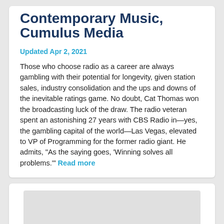Contemporary Music, Cumulus Media
Updated Apr 2, 2021
Those who choose radio as a career are always gambling with their potential for longevity, given station sales, industry consolidation and the ups and downs of the inevitable ratings game. No doubt, Cat Thomas won the broadcasting luck of the draw. The radio veteran spent an astonishing 27 years with CBS Radio in—yes, the gambling capital of the world—Las Vegas, elevated to VP of Programming for the former radio giant. He admits, “As the saying goes, ‘Winning solves all problems.’” Read more
[Figure (other): Light gray advertisement or image placeholder box]